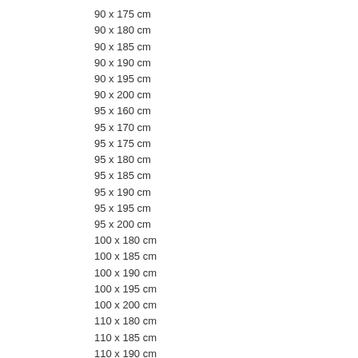90 x 175 cm
90 x 180 cm
90 x 185 cm
90 x 190 cm
90 x 195 cm
90 x 200 cm
95 x 160 cm
95 x 170 cm
95 x 175 cm
95 x 180 cm
95 x 185 cm
95 x 190 cm
95 x 195 cm
95 x 200 cm
100 x 180 cm
100 x 185 cm
100 x 190 cm
100 x 195 cm
100 x 200 cm
110 x 180 cm
110 x 185 cm
110 x 190 cm
110 x 195 cm
110 x 200 cm
120 x 180 cm